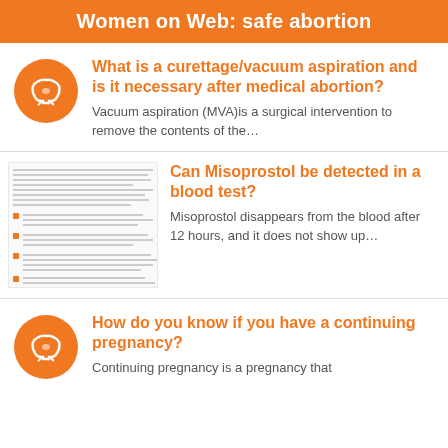Women on Web: safe abortion
What is a curettage/vacuum aspiration and is it necessary after medical abortion?
Vacuum aspiration (MVA)is a surgical intervention to remove the contents of the…
[Figure (screenshot): Small screenshot of a document page with text about abortion procedures]
Can Misoprostol be detected in a blood test?
Misoprostol disappears from the blood after 12 hours, and it does not show up…
How do you know if you have a continuing pregnancy?
Continuing pregnancy is a pregnancy that